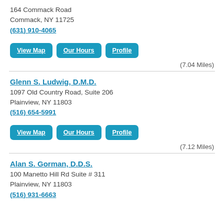164 Commack Road
Commack, NY 11725
(631) 910-4065
View Map  Our Hours  Profile
(7.04 Miles)
Glenn S. Ludwig, D.M.D.
1097 Old Country Road, Suite 206
Plainview, NY 11803
(516) 654-5991
View Map  Our Hours  Profile
(7.12 Miles)
Alan S. Gorman, D.D.S.
100 Manetto Hill Rd Suite # 311
Plainview, NY 11803
(516) 931-6663